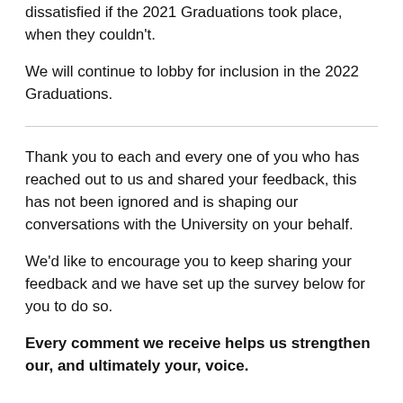dissatisfied if the 2021 Graduations took place, when they couldn't.
We will continue to lobby for inclusion in the 2022 Graduations.
Thank you to each and every one of you who has reached out to us and shared your feedback, this has not been ignored and is shaping our conversations with the University on your behalf.
We'd like to encourage you to keep sharing your feedback and we have set up the survey below for you to do so.
Every comment we receive helps us strengthen our, and ultimately your, voice.